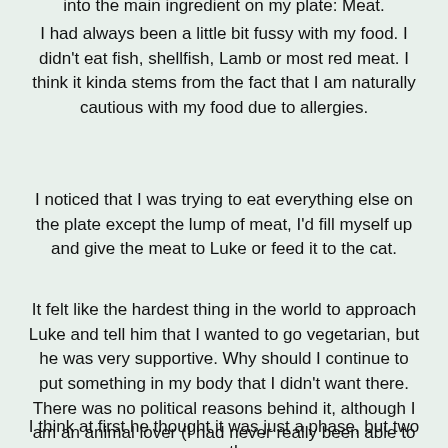into the main ingredient on my plate: Meat.
I had always been a little bit fussy with my food. I didn't eat fish, shellfish, Lamb or most red meat. I think it kinda stems from the fact that I am naturally cautious with my food due to allergies.
I noticed that I was trying to eat everything else on the plate except the lump of meat, I'd fill myself up and give the meat to Luke or feed it to the cat.
It felt like the hardest thing in the world to approach Luke and tell him that I wanted to go vegetarian, but he was very supportive. Why should I continue to put something in my body that I didn't want there. There was no political reasons behind it, although I am an animal lover (I had never really been able to touch raw meat), I just felt like it was time to notice the signs.
I think at first he thought it was just a phase, but two months